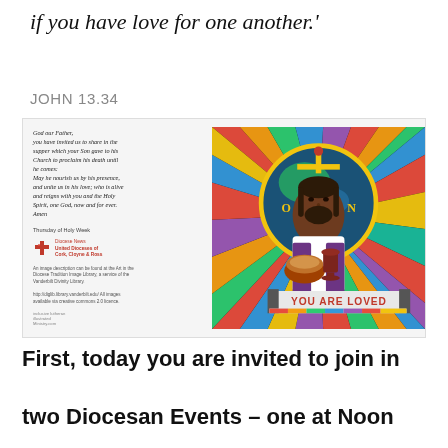if you have love for one another.'
JOHN 13.34
[Figure (illustration): Religious illustration card with a prayer text on the left side ('God our Father, you have invited us to share in the supper which your Son gave to his Church to proclaim his death until he comes: May he nourish us by his presence, and unite us in his love; who is alive and reigns with you and the Holy Spirit, one God, now and for ever. Amen') and on the right a colorful icon-style painting of Jesus with dark skin holding bread and a chalice, with a globe halo, radiating colorful rays background, and a banner reading 'YOU ARE LOVED'. Bottom of left panel shows 'Thursday of Holy Week', the logo and name 'United Dioceses of Cork, Cloyne & Ross' and image credit text.]
First, today you are invited to join in
two Diocesan Events – one at Noon